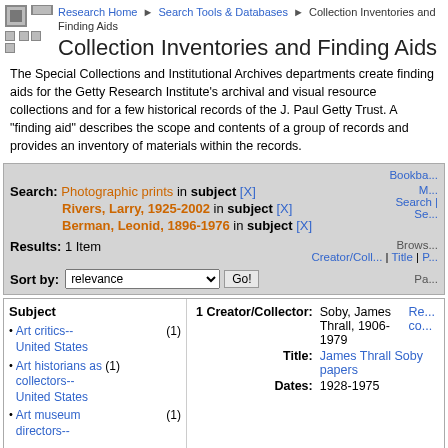Research Home > Search Tools & Databases > Collection Inventories and Finding Aids
Collection Inventories and Finding Aids
The Special Collections and Institutional Archives departments create finding aids for the Getty Research Institute's archival and visual resource collections and for a few historical records of the J. Paul Getty Trust. A "finding aid" describes the scope and contents of a group of records and provides an inventory of materials within the records.
Search: Photographic prints in subject [X] Rivers, Larry, 1925-2002 in subject [X] Berman, Leonid, 1896-1976 in subject [X]
Results: 1 Item
Sort by: relevance  Go!
Subject
Art critics-- United States (1)
Art historians as collectors-- United States (1)
Art museum directors-- (1)
|  | Creator/Collector | Title | Dates |
| --- | --- | --- | --- |
| 1 | Soby, James Thrall, 1906-1979 | James Thrall Soby papers | 1928-1975 |